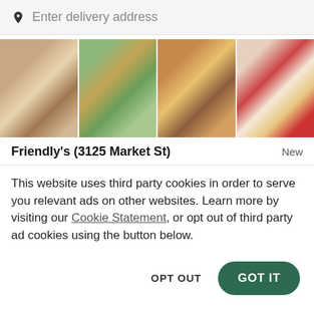Enter delivery address
[Figure (photo): Four food photos in a horizontal strip: ice cream sundae with chocolate sauce, a salad with chicken and greens, a bacon cheeseburger, and a milkshake with fries and mini burgers]
Friendly's (3125 Market St)
New
This website uses third party cookies in order to serve you relevant ads on other websites. Learn more by visiting our Cookie Statement, or opt out of third party ad cookies using the button below.
OPT OUT
GOT IT